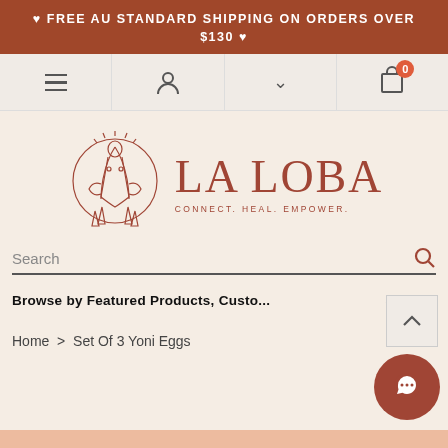♥ FREE AU STANDARD SHIPPING ON ORDERS OVER $130 ♥
[Figure (screenshot): Navigation bar with hamburger menu, person/account icon, dropdown chevron, and shopping cart with badge showing 0]
[Figure (logo): La Loba logo with circular illustration of a feminine figure and text 'LA LOBA' with tagline 'CONNECT. HEAL. EMPOWER.']
Search
Browse by Featured Products, Custo...    Show ∨
Home  >  Set Of 3 Yoni Eggs